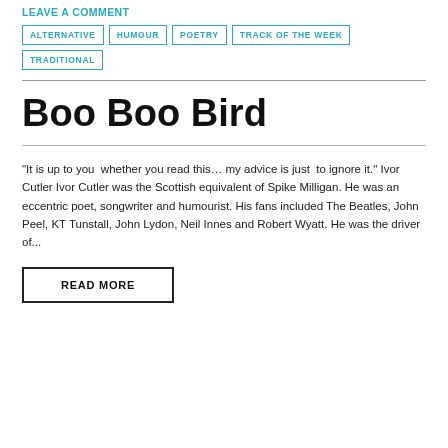LEAVE A COMMENT
ALTERNATIVE
HUMOUR
POETRY
TRACK OF THE WEEK
TRADITIONAL
Boo Boo Bird
"It is up to you  whether you read this… my advice is just  to ignore it." Ivor Cutler Ivor Cutler was the Scottish equivalent of Spike Milligan. He was an eccentric poet, songwriter and humourist. His fans included The Beatles, John Peel, KT Tunstall, John Lydon, Neil Innes and Robert Wyatt. He was the driver of...
READ MORE